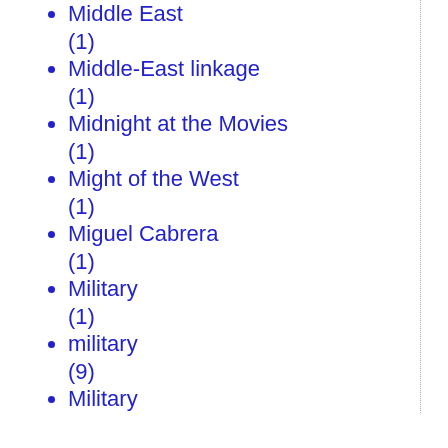Middle East (1)
Middle-East linkage (1)
Midnight at the Movies (1)
Might of the West (1)
Miguel Cabrera (1)
Military (1)
military (9)
Military